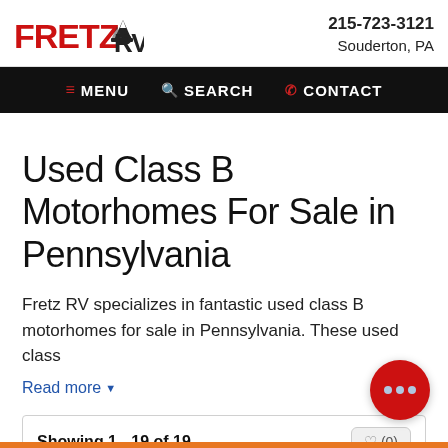FRETZ RV — 215-723-3121, Souderton, PA
MENU  SEARCH  CONTACT
Used Class B Motorhomes For Sale in Pennsylvania
Fretz RV specializes in fantastic used class B motorhomes for sale in Pennsylvania. These used class
Read more ▼
Showing 1 - 19 of 19